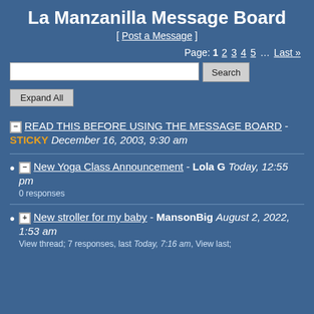La Manzanilla Message Board
[ Post a Message ]
Page: 1 2 3 4 5 … Last »
Search (search box and button)
Expand All
READ THIS BEFORE USING THE MESSAGE BOARD - STICKY December 16, 2003, 9:30 am
New Yoga Class Announcement - Lola G Today, 12:55 pm
0 responses
New stroller for my baby - MansonBig August 2, 2022, 1:53 am
View thread; 7 responses, last Today, 7:16 am, View last;